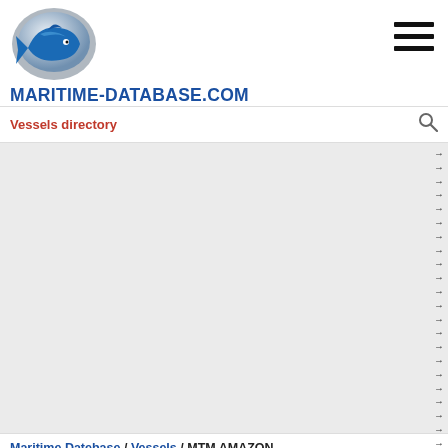[Figure (logo): Maritime Database logo — a stylized fish/shark in blue and grey circle]
MARITIME-DATABASE.COM
Vessels directory
Maritime Datebase / Vessels / MTM AMAZON